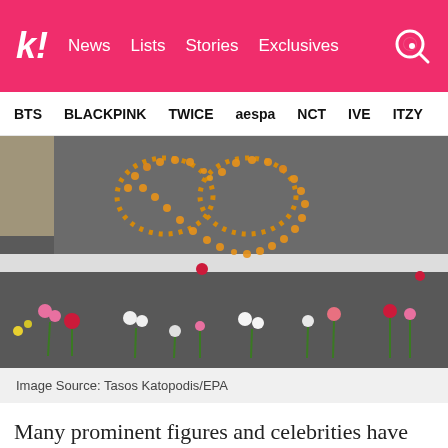k! News Lists Stories Exclusives
BTS BLACKPINK TWICE aespa NCT IVE ITZY
[Figure (photo): Flowers and a heart shape made of orange petals laid on a road, with cut flowers arranged along a white line on the asphalt — a memorial tribute.]
Image Source: Tasos Katopodis/EPA
Many prominent figures and celebrities have used social media to speak out against the